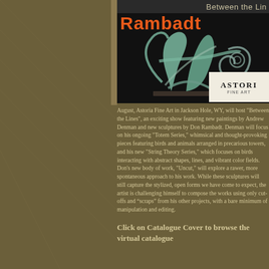Between the Lin
Rambadt
[Figure (photo): Bronze sculpture with abstract open forms, swirling and curved metal elements on a dark background. Astoria Fine Art gallery badge visible in lower right corner.]
August, Astoria Fine Art in Jackson Hole, WY, will host "Between the Lines", an exciting show featuring new paintings by Andrew Denman and new sculptures by Don Rambadt. Denman will focus on his ongoing "Totem Series," whimsical and thought-provoking pieces featuring birds and animals arranged in precarious towers, and his new "String Theory Series," which focuses on birds interacting with abstract shapes, lines, and vibrant color fields. Don's new body of work, "Uncut," will explore a rawer, more spontaneous approach to his work. While these sculptures will still capture the stylized, open forms we have come to expect, the artist is challenging himself to compose the works using only cut-offs and “scraps” from his other projects, with a bare minimum of manipulation and editing.
Click on Catalogue Cover to browse the virtual catalogue